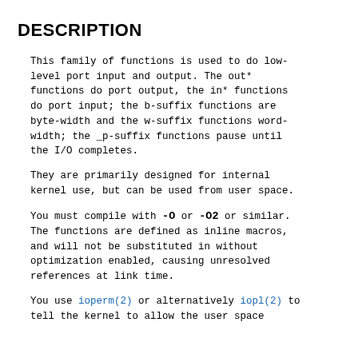DESCRIPTION
This family of functions is used to do low-level port input and output. The out* functions do port output, the in* functions do port input; the b-suffix functions are byte-width and the w-suffix functions word-width; the _p-suffix functions pause until the I/O completes.
They are primarily designed for internal kernel use, but can be used from user space.
You must compile with -O or -O2 or similar. The functions are defined as inline macros, and will not be substituted in without optimization enabled, causing unresolved references at link time.
You use ioperm(2) or alternatively iopl(2) to tell the kernel to allow the user space